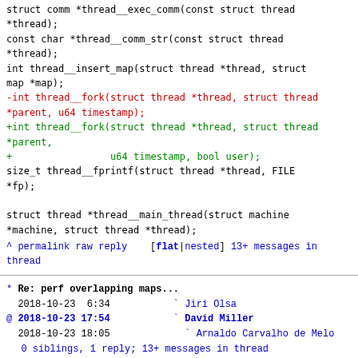struct comm *thread__exec_comm(const struct thread *thread);
 const char *thread__comm_str(const struct thread *thread);
 int thread__insert_map(struct thread *thread, struct map *map);
-int thread__fork(struct thread *thread, struct thread *parent, u64 timestamp);
+int thread__fork(struct thread *thread, struct thread *parent,
+                 u64 timestamp, bool user);
 size_t thread__fprintf(struct thread *thread, FILE *fp);

 struct thread *thread__main_thread(struct machine *machine, struct thread *thread);
^ permalink raw reply   [flat|nested] 13+ messages in thread
* Re: perf overlapping maps...
  2018-10-23  6:34          ` Jiri Olsa
@ 2018-10-23 17:54          ` David Miller
  2018-10-23 18:05            ` Arnaldo Carvalho de Melo
  0 siblings, 1 reply; 13+ messages in thread
From: David Miller @ 2018-10-23 17:54 UTC (permalink / raw)
  To: jolsa; +Cc: dzickus, acme, linux-kernel